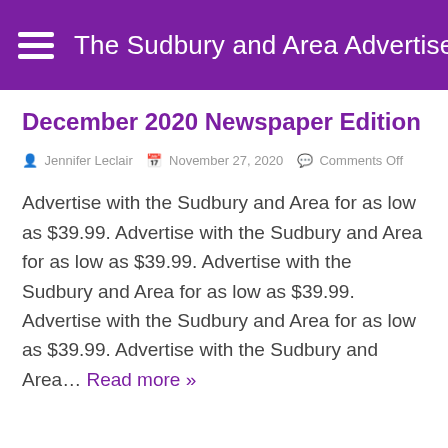The Sudbury and Area Advertiser
December 2020 Newspaper Edition
Jennifer Leclair  November 27, 2020  Comments Off
Advertise with the Sudbury and Area for as low as $39.99. Advertise with the Sudbury and Area for as low as $39.99. Advertise with the Sudbury and Area for as low as $39.99. Advertise with the Sudbury and Area for as low as $39.99. Advertise with the Sudbury and Area... Read more »